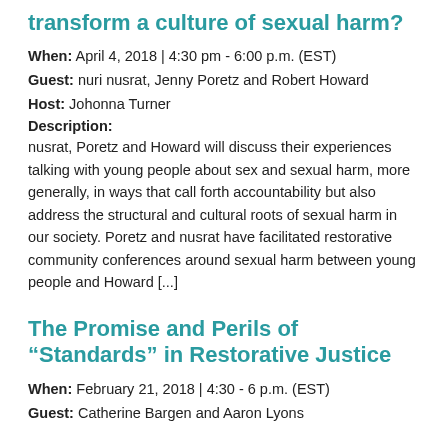transform a culture of sexual harm?
When: April 4, 2018 | 4:30 pm - 6:00 p.m. (EST)
Guest: nuri nusrat, Jenny Poretz and Robert Howard
Host: Johonna Turner
Description:
nusrat, Poretz and Howard will discuss their experiences talking with young people about sex and sexual harm, more generally, in ways that call forth accountability but also address the structural and cultural roots of sexual harm in our society. Poretz and nusrat have facilitated restorative community conferences around sexual harm between young people and Howard [...]
The Promise and Perils of “Standards” in Restorative Justice
When: February 21, 2018 | 4:30 - 6 p.m. (EST)
Guest: Catherine Bargen and Aaron Lyons